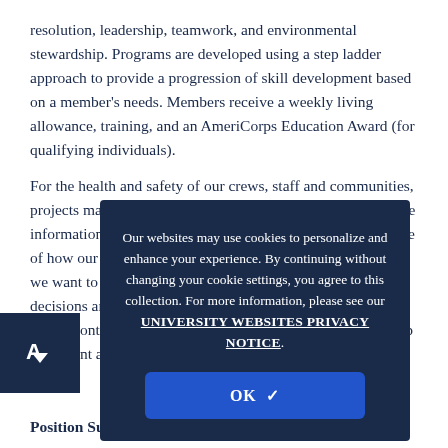resolution, leadership, teamwork, and environmental stewardship. Programs are developed using a step ladder approach to provide a progression of skill development based on a member's needs. Members receive a weekly living allowance, training, and an AmeriCorps Education Award (for qualifying individuals).
For the health and safety of our crews, staff and communities, projects may be postponed or adjusted due to COVID-19. The information provided in this Position Description is an outline of how our program has typically been operating, however, we want to be transparent. As this situation develops, and decisions are made, we will provide updates. We encourage you to continue with the application process and we will keep consistent and direct communication with all applicants.
[Figure (other): Cookie consent modal overlay with dark navy background. Text reads: 'Our websites may use cookies to personalize and enhance your experience. By continuing without changing your cookie settings, you agree to this collection. For more information, please see our UNIVERSITY WEBSITES PRIVACY NOTICE.' Below is a blue OK button with a checkmark.]
[Figure (logo): Dark navy square logo badge in the bottom left corner with a white A and downward arrow icon.]
Position Summary: